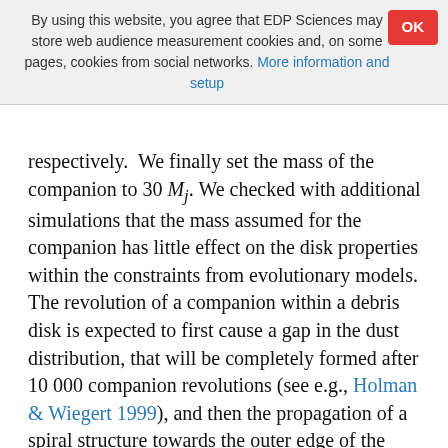By using this website, you agree that EDP Sciences may store web audience measurement cookies and, on some pages, cookies from social networks. More information and setup
respectively. We finally set the mass of the companion to 30 Mj. We checked with additional simulations that the mass assumed for the companion has little effect on the disk properties within the constraints from evolutionary models. The revolution of a companion within a debris disk is expected to first cause a gap in the dust distribution, that will be completely formed after 10 000 companion revolutions (see e.g., Holman & Wiegert 1999), and then the propagation of a spiral structure towards the outer edge of the disk, that will become more and more tightly wound because of the disk's secular precession and will eventually disappear (Wyatt 2005). The age of the system is not well constrained